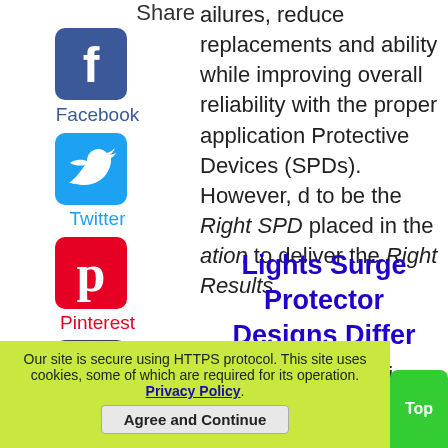Share
[Figure (logo): Facebook logo icon (blue square with white f)]
Facebook
[Figure (logo): Twitter logo icon (light blue square with white bird)]
Twitter
[Figure (logo): Pinterest logo icon (red square with white P)]
Pinterest
[Figure (logo): Tumblr logo icon (dark square with white t)]
Tumblr
[Figure (logo): Reddit logo icon (orange square with white alien)]
Reddit
ailures, reduce replacements and ability while improving overall reliability with the proper application Protective Devices (SPDs). However, d to be the Right SPD placed in the ation to deliver the Right Results.
Lights Surge Protector Designs Differ
g sensitive electronics, today's xtures and electronic ballasts are le to premature failure. Many fail
Our site is secure using HTTPS protocol. This site uses cookies, some of which are required for its operation. Privacy Policy.
Agree and Continue